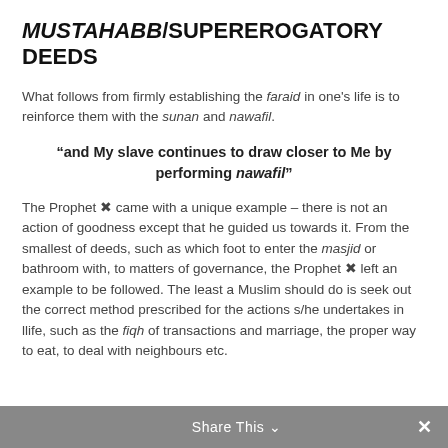MUSTAHABB/SUPEREROGATORY DEEDS
What follows from firmly establishing the faraid in one's life is to reinforce them with the sunan and nawafil.
“and My slave continues to draw closer to Me by performing nawafil”
The Prophet ❖ came with a unique example – there is not an action of goodness except that he guided us towards it. From the smallest of deeds, such as which foot to enter the masjid or bathroom with, to matters of governance, the Prophet ❖ left an example to be followed. The least a Muslim should do is seek out the correct method prescribed for the actions s/he undertakes in llife, such as the fiqh of transactions and marriage, the proper way to eat, to deal with neighbours etc.
Share This ∨ ×